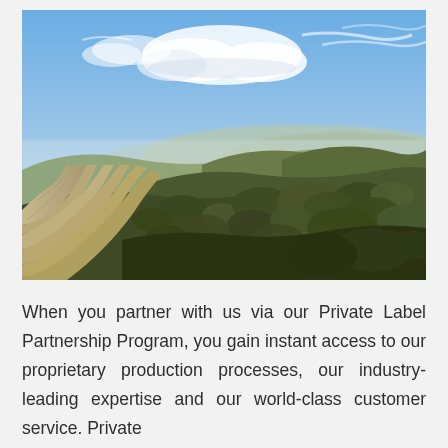[Figure (photo): Landscape photograph of a dirt road winding through rolling green-brown scrubland hills under a partly cloudy blue sky, with mountains visible in the hazy distance.]
When you partner with us via our Private Label Partnership Program, you gain instant access to our proprietary production processes, our industry-leading expertise and our world-class customer service. Private